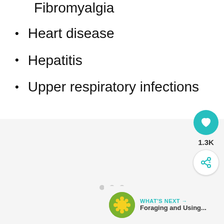Fibromyalgia
Heart disease
Hepatitis
Upper respiratory infections
[Figure (screenshot): UI element showing a like button with teal heart icon and count 1.3K, and a share button]
[Figure (screenshot): What's Next banner showing a dandelion image and text 'Foraging and Using...']